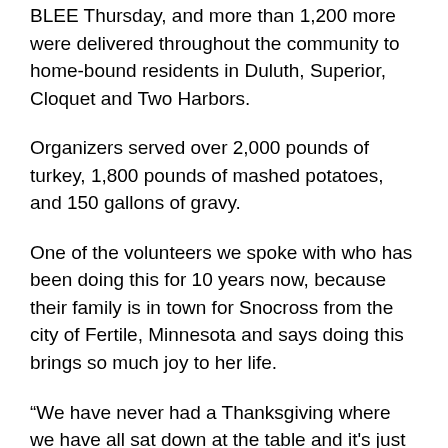BLEE Thursday, and more than 1,200 more were delivered throughout the community to home-bound residents in Duluth, Superior, Cloquet and Two Harbors.
Organizers served over 2,000 pounds of turkey, 1,800 pounds of mashed potatoes, and 150 gallons of gravy.
One of the volunteers we spoke with who has been doing this for 10 years now, because their family is in town for Snocross from the city of Fertile, Minnesota and says doing this brings so much joy to her life.
“We have never had a Thanksgiving where we have all sat down at the table and it’s just been like us. We like just coming out here and giving